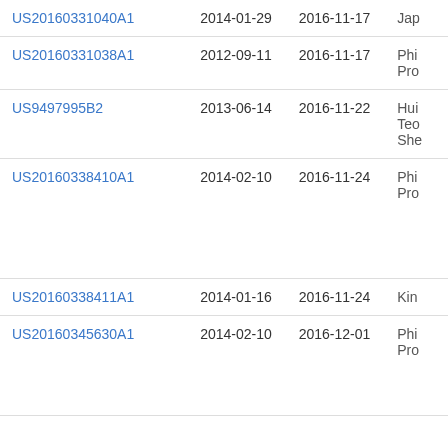| Patent Number | Filed | Published | Assignee |
| --- | --- | --- | --- |
| US20160331040A1 | 2014-01-29 | 2016-11-17 | Jap... |
| US20160331038A1 | 2012-09-11 | 2016-11-17 | Phi... Pro... |
| US9497995B2 | 2013-06-14 | 2016-11-22 | Hui... Tec... She... |
| US20160338410A1 | 2014-02-10 | 2016-11-24 | Phi... Pro... |
| US20160338411A1 | 2014-01-16 | 2016-11-24 | Kin... |
| US20160345630A1 | 2014-02-10 | 2016-12-01 | Phi... Pro... |